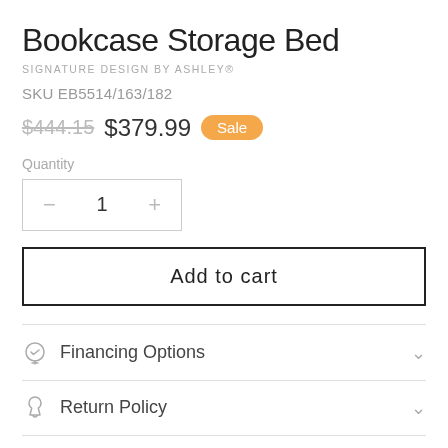Bookcase Storage Bed
SIGNATURE DESIGN BY ASHLEY®
SKU EB5514/163/182
$444.15  $379.99  Sale
Quantity
− 1 +
Add to cart
Financing Options
Return Policy